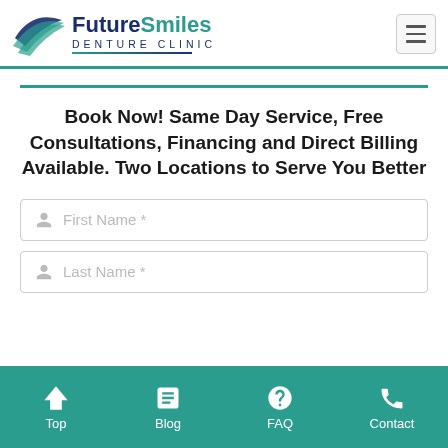[Figure (logo): Future Smiles Denture Clinic logo with teal swoosh graphic and two-tone wordmark]
Book Now! Same Day Service, Free Consultations, Financing and Direct Billing Available. Two Locations to Serve You Better
First Name *
Last Name *
Top | Blog | FAQ | Contact